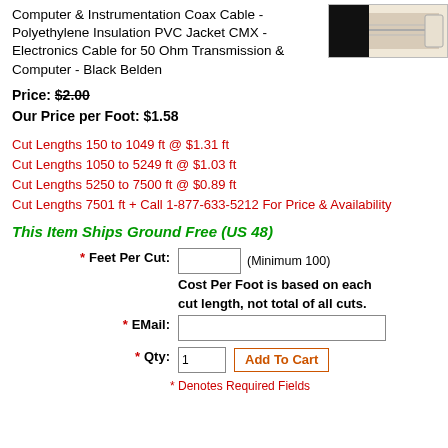Computer & Instrumentation Coax Cable - Polyethylene Insulation PVC Jacket CMX - Electronics Cable for 50 Ohm Transmission & Computer - Black Belden
Price: $2.00
Our Price per Foot: $1.58
Cut Lengths 150 to 1049 ft @ $1.31 ft
Cut Lengths 1050 to 5249 ft @ $1.03 ft
Cut Lengths 5250 to 7500 ft @ $0.89 ft
Cut Lengths 7501 ft + Call 1-877-633-5212 For Price & Availability
This Item Ships Ground Free (US 48)
* Feet Per Cut: (Minimum 100) Cost Per Foot is based on each cut length, not total of all cuts.
* EMail:
* Qty: 1  Add To Cart
* Denotes Required Fields